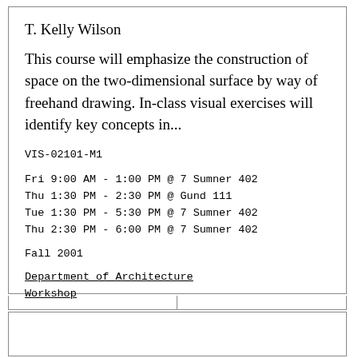T. Kelly Wilson
This course will emphasize the construction of space on the two-dimensional surface by way of freehand drawing. In-class visual exercises will identify key concepts in...
VIS-02101-M1
Fri 9:00 AM - 1:00 PM @ 7 Sumner 402
Thu 1:30 PM - 2:30 PM @ Gund 111
Tue 1:30 PM - 5:30 PM @ 7 Sumner 402
Thu 2:30 PM - 6:00 PM @ 7 Sumner 402
Fall 2001
Department of Architecture
Workshop
2 Credits